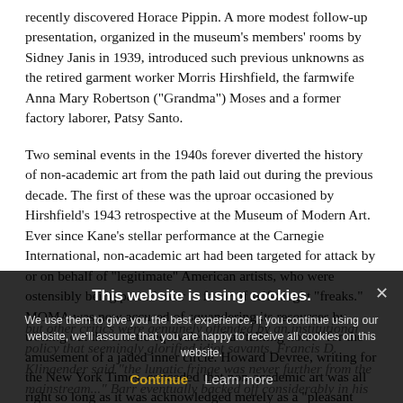recently discovered Horace Pippin. A more modest follow-up presentation, organized in the museum's members' rooms by Sidney Janis in 1939, introduced such previous unknowns as the retired garment worker Morris Hirshfield, the farmwife Anna Mary Robertson ("Grandma") Moses and a former factory laborer, Patsy Santo.
Two seminal events in the 1940s forever diverted the history of non-academic art from the path laid out during the previous decade. The first of these was the uproar occasioned by Hirshfield's 1943 retrospective at the Museum of Modern Art. Ever since Kane's stellar performance at the Carnegie International, non-academic art had been targeted for attack by or on behalf of "legitimate" American artists, who were ostensibly being passed over in favor of self-taught "freaks." MOMA was now accused of squandering its resources by trotting out the artistic equivalent of a "talking horse" for the amusement of a jaded inner circle. Howard Devree, writing for the New York Times, conceded that non-academic art was all right so long as it was acknowledged merely as a "pleasant side street,"
but other critics were genuinely offended by an institutional policy that seemingly glorified idiot savants. Francis D. Klingender said "the lunatic fringe was never further from the mainstream..." Barr eventually backed off considerably in his support of non-academic art. Defending the Hirshfield exhibition, he stressed the merits of the work in
This website is using cookies. We use them to give you the best experience. If you continue using our website, we'll assume that you are happy to receive all cookies on this website.